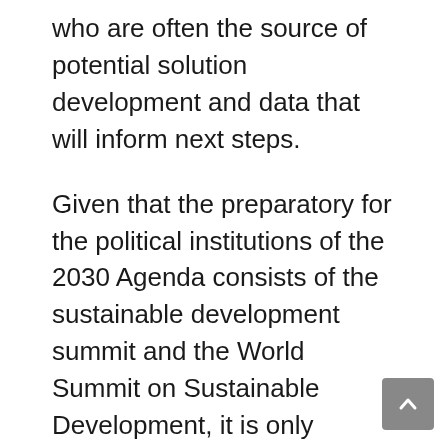who are often the source of potential solution development and data that will inform next steps.
Given that the preparatory for the political institutions of the 2030 Agenda consists of the sustainable development summit and the World Summit on Sustainable Development, it is only natural that governments aim to involve the young leaders in this process. These leaders are present in all the 12 out of the 17 summit-related organs. They already play a crucial role in each of these activities, offering ideas